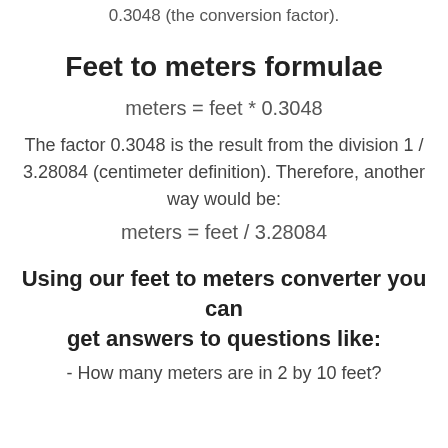0.3048 (the conversion factor).
Feet to meters formulae
The factor 0.3048 is the result from the division 1 / 3.28084 (centimeter definition). Therefore, another way would be:
Using our feet to meters converter you can get answers to questions like:
- How many meters are in 2 by 10 feet?